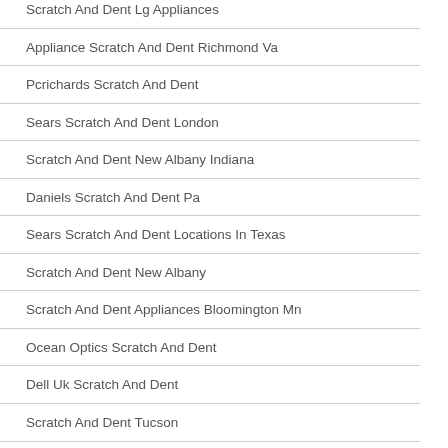Scratch And Dent Lg Appliances
Appliance Scratch And Dent Richmond Va
Pcrichards Scratch And Dent
Sears Scratch And Dent London
Scratch And Dent New Albany Indiana
Daniels Scratch And Dent Pa
Sears Scratch And Dent Locations In Texas
Scratch And Dent New Albany
Scratch And Dent Appliances Bloomington Mn
Ocean Optics Scratch And Dent
Dell Uk Scratch And Dent
Scratch And Dent Tucson
Scratch And Dent Ft Myers
Geelong Scratch And Dent
Shure Finish Scratch And Dent Removah